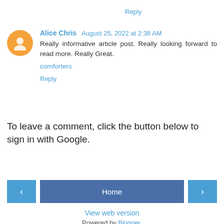Reply
Alice Chris  August 25, 2022 at 2:38 AM
Really informative article post. Really looking forward to read more. Really Great.
comforters
Reply
To leave a comment, click the button below to sign in with Google.
SIGN IN WITH GOOGLE
‹
Home
›
View web version
Powered by Blogger.